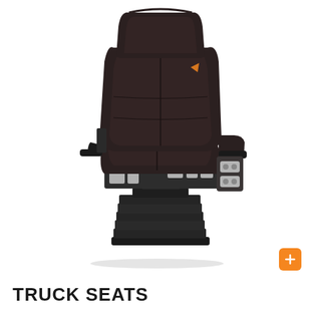[Figure (photo): A professional truck/commercial vehicle air suspension seat in dark brown/black fabric with armrests on both sides, multiple adjustment controls on the side panel, and a ribbed air suspension base. The seat is photographed at a slight angle on a white background.]
TRUCK SEATS